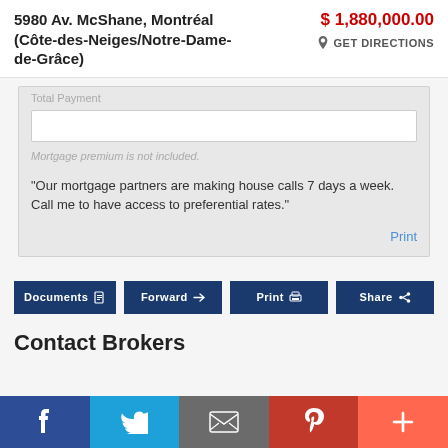5980 Av. McShane, Montréal (Côte-des-Neiges/Notre-Dame-de-Grâce)
$ 1,880,000.00
GET DIRECTIONS
Total Payment
Mortgage premium is not included.
"Our mortgage partners are making house calls 7 days a week. Call me to have access to preferential rates."
Print
Documents
Forward
Print
Share
Contact Brokers